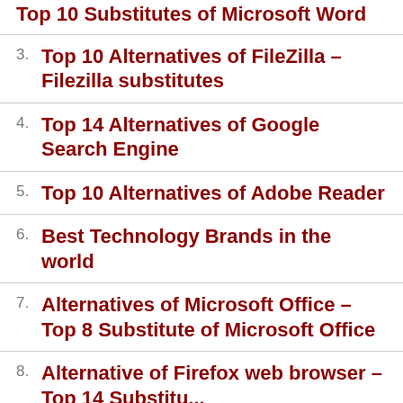Top 10 Substitutes of Microsoft Word
3. Top 10 Alternatives of FileZilla – Filezilla substitutes
4. Top 14 Alternatives of Google Search Engine
5. Top 10 Alternatives of Adobe Reader
6. Best Technology Brands in the world
7. Alternatives of Microsoft Office – Top 8 Substitute of Microsoft Office
8. Alternative of Firefox web browser – Top 14 Substitutes of Firefox